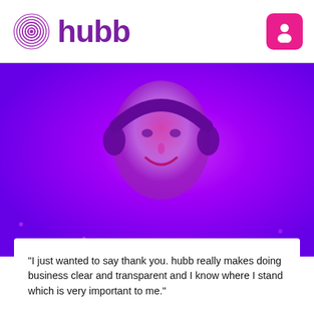[Figure (logo): Hubb logo with fingerprint spiral icon and purple 'hubb' text, plus pink profile icon button in top right]
[Figure (photo): Person wearing headphones, purple/magenta color-toned photo background]
"I just wanted to say thank you. hubb really makes doing business clear and transparent and I know where I stand which is very important to me."